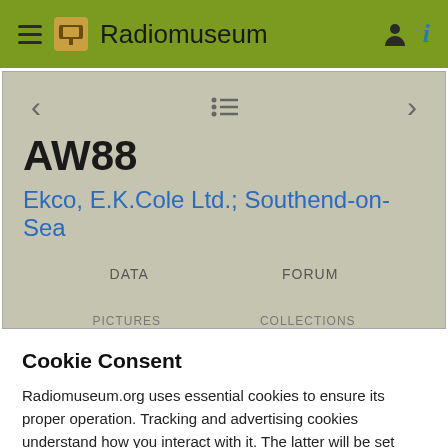Radiomuseum
AW88
Ekco, E.K.Cole Ltd.; Southend-on-Sea
DATA    FORUM
Cookie Consent
Radiomuseum.org uses essential cookies to ensure its proper operation. Tracking and advertising cookies understand how you interact with it. The latter will be set only upon approval. Privacy Policy